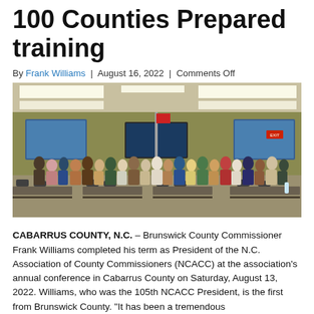100 Counties Prepared training
By Frank Williams | August 16, 2022 | Comments Off
[Figure (photo): Group photo of approximately 60-70 people standing together in a conference/training room with tables, chairs, screens, and fluorescent lighting. The room has a yellow-green wall and overhead panel lights.]
CABARRUS COUNTY, N.C. – Brunswick County Commissioner Frank Williams completed his term as President of the N.C. Association of County Commissioners (NCACC) at the association's annual conference in Cabarrus County on Saturday, August 13, 2022. Williams, who was the 105th NCACC President, is the first from Brunswick County. "It has been a tremendous